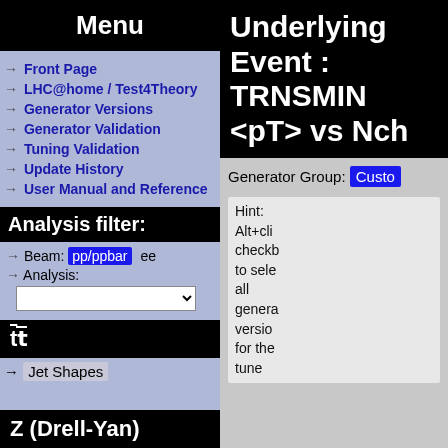Menu
→ Front Page
→ LHC@home / Test4Theory
→ Generator Versions
→ Generator Validation
→ Tuning Validation
→ Update History
→ User Manual and Reference
Analysis filter:
→ Beam: pp/ppbar ee
→ Analysis:
tt̄
→ Jet Shapes
Z (Drell-Yan)
Underlying Event : TRNSMIN <pT> vs Nch
Generator Group: Custom
Hint: Alt+click checkboxes to select all generator versions for the tune